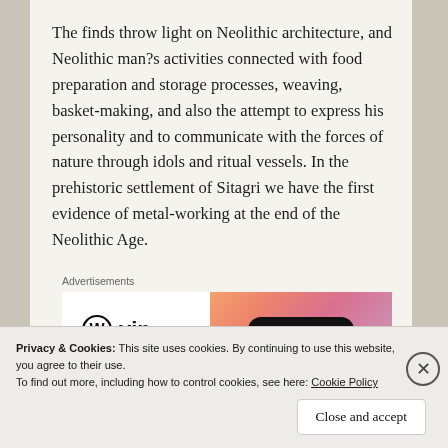The finds throw light on Neolithic architecture, and Neolithic man?s activities connected with food preparation and storage processes, weaving, basket-making, and also the attempt to express his personality and to communicate with the forces of nature through idols and ritual vessels. In the prehistoric settlement of Sitagri we have the first evidence of metal-working at the end of the Neolithic Age.
[Figure (other): WordPress VIP advertisement banner with logo on left and 'Learn more →' button on gradient orange-pink background on right. 'Advertisements' label above. 'REPORT THIS AD' text below.]
Privacy & Cookies: This site uses cookies. By continuing to use this website, you agree to their use.
To find out more, including how to control cookies, see here: Cookie Policy